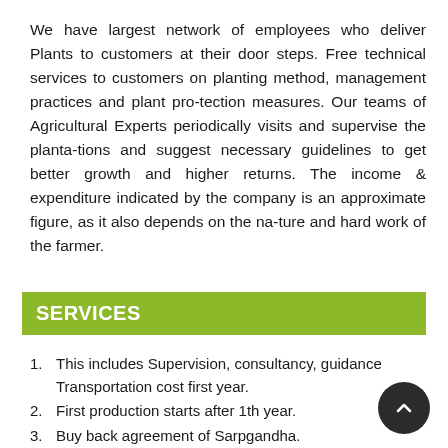We have largest network of employees who deliver Plants to customers at their door steps. Free technical services to customers on planting method, management practices and plant pro-tection measures. Our teams of Agricultural Experts periodically visits and supervise the planta-tions and suggest necessary guidelines to get better growth and higher returns. The income & expenditure indicated by the company is an approximate figure, as it also depends on the na-ture and hard work of the farmer.
SERVICES
This includes Supervision, consultancy, guidance Transportation cost first year.
First production starts after 1th year.
Buy back agreement of Sarpgandha.
The income expenditure indicated by the company